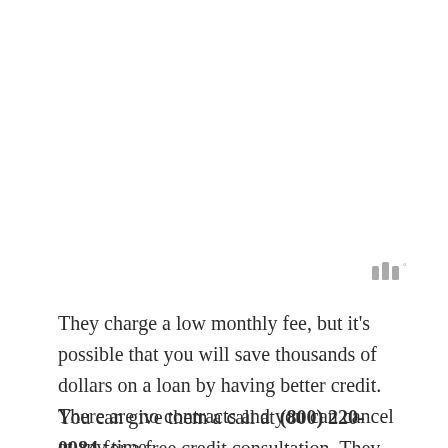[Figure (logo): Small watermark/logo symbol with stylized bars and degree symbol, in gray]
They charge a low monthly fee, but it's possible that you will save thousands of dollars on a loan by having better credit. There are no contracts and you can cancel at any time.
You can give them a call at (800) 220-0084 for a free credit consultation. They have helped many